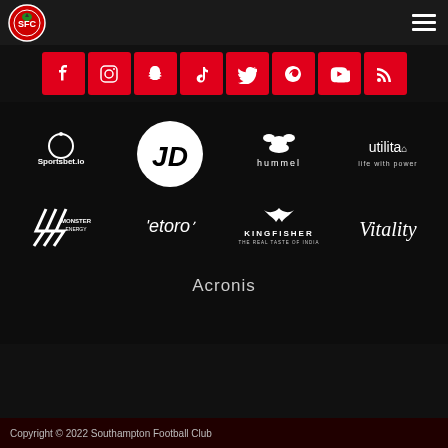Southampton Football Club header navigation
[Figure (logo): Southampton FC crest logo (red and white badge)]
[Figure (infographic): Social media icons row: Facebook, Instagram, Snapchat, TikTok, Twitter, Vine, YouTube, RSS — all white icons on red square backgrounds]
[Figure (logo): Sportsbet.io logo in white on dark background]
[Figure (logo): JD Sports logo — white circle with JD letters]
[Figure (logo): Hummel logo in white on dark background]
[Figure (logo): Utilita life with power logo in white]
[Figure (logo): Monster Energy logo in white on dark background]
[Figure (logo): eToro logo in white on dark background]
[Figure (logo): Kingfisher the real taste of India logo in white]
[Figure (logo): Vitality logo in white cursive on dark background]
Acronis
Copyright © 2022 Southampton Football Club